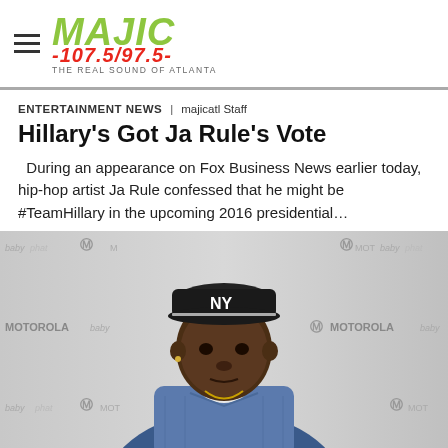MAJIC 107.5/97.5 THE REAL SOUND OF ATLANTA
ENTERTAINMENT NEWS | majicatl Staff
Hillary's Got Ja Rule's Vote
During an appearance on Fox Business News earlier today, hip-hop artist Ja Rule confessed that he might be #TeamHillary in the upcoming 2016 presidential…
[Figure (photo): Photo of Ja Rule standing in front of a Baby Phat and Motorola branded backdrop, wearing a NY Yankees cap and denim jacket]
• • •